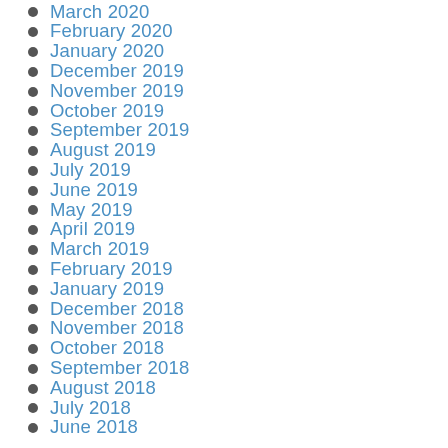March 2020
February 2020
January 2020
December 2019
November 2019
October 2019
September 2019
August 2019
July 2019
June 2019
May 2019
April 2019
March 2019
February 2019
January 2019
December 2018
November 2018
October 2018
September 2018
August 2018
July 2018
June 2018